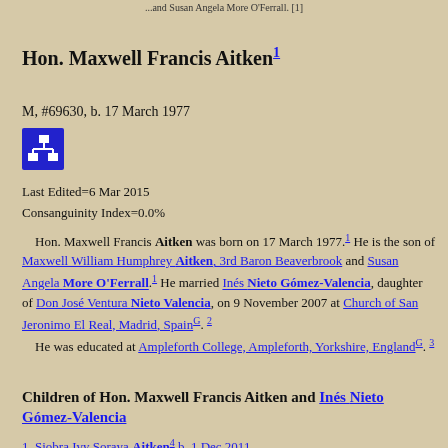... and Susan Angela More O'Ferrall. [1]
Hon. Maxwell Francis Aitken¹
M, #69630, b. 17 March 1977
[Figure (other): Blue icon with hierarchy/family tree symbol]
Last Edited=6 Mar 2015
Consanguinity Index=0.0%
Hon. Maxwell Francis Aitken was born on 17 March 1977.¹ He is the son of Maxwell William Humphrey Aitken, 3rd Baron Beaverbrook and Susan Angela More O'Ferrall.¹ He married Inés Nieto Gómez-Valencia, daughter of Don José Ventura Nieto Valencia, on 9 November 2007 at Church of San Jeronimo El Real, Madrid, Spainᴳ. 2 He was educated at Ampleforth College, Ampleforth, Yorkshire, Englandᴳ. 3
Children of Hon. Maxwell Francis Aitken and Inés Nieto Gómez-Valencia
1. Siobra Ivy Soraya Aitken⁴ b. 1 Dec 2011